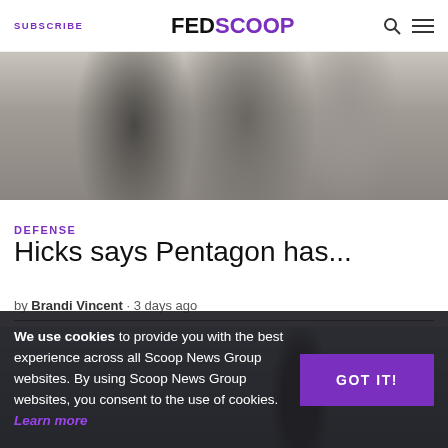SUBSCRIBE | FEDSCOOP | [search icon] [menu icon]
[Figure (photo): People viewed from behind in formal attire standing indoors]
DEFENSE
Hicks says Pentagon has...
by Brandi Vincent • 3 days ago
[Figure (photo): Blue sky with a vertical light streak, possibly a balloon or aircraft]
We use cookies to provide you with the best experience across all Scoop News Group websites. By using Scoop News Group websites, you consent to the use of cookies. Learn more
GOT IT!